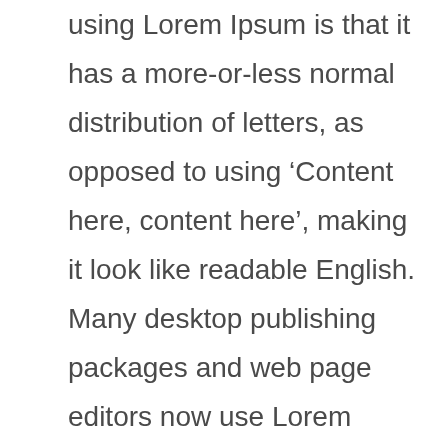using Lorem Ipsum is that it has a more-or-less normal distribution of letters, as opposed to using ‘Content here, content here’, making it look like readable English. Many desktop publishing packages and web page editors now use Lorem Ipsum as their default model text, and a search for ‘lorem ipsum’ will uncover many web sites still in their infancy. Various versions have evolved over the years, sometimes by accident, sometimes on purpose (injected humour and the like).